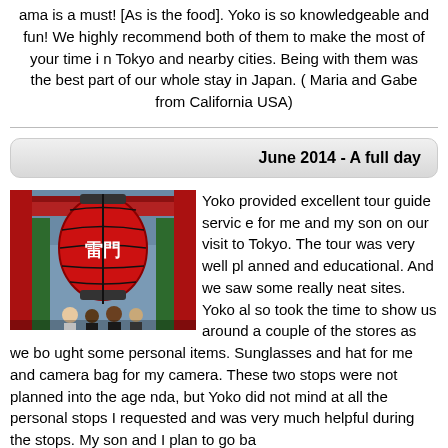ama is a must! [As is the food]. Yoko is so knowledgeable and fun! We highly recommend both of them to make the most of your time in Tokyo and nearby cities. Being with them was the best part of our whole stay in Japan. ( Maria and Gabe from California USA)
June 2014 - A full day
[Figure (photo): Photo of people standing in front of a large red Japanese temple lantern (likely Sensoji temple, Asakusa), with red pillars and traditional architecture visible.]
Yoko provided excellent tour guide service for me and my son on our visit to Tokyo. The tour was very well planned and educational. And we saw some really neat sites. Yoko also took the time to show us around a couple of the stores as we bought some personal items. Sunglasses and hat for me and camera bag for my camera. These two stops were not planned into the agenda, but Yoko did not mind at all the personal stops I requested and was very much helpful during the stops. My son and I plan to go ba